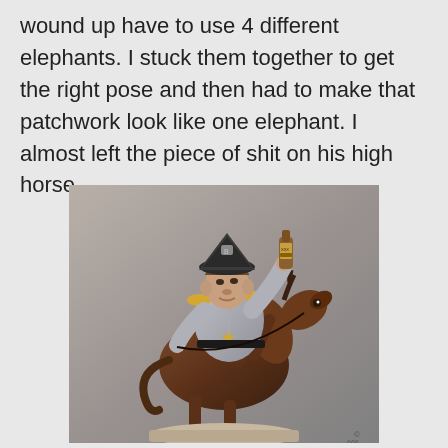wound up have to use 4 different elephants. I stuck them together to get the right pose and then had to make that patchwork look like one elephant. I almost left the piece of shit on his high horse.
[Figure (illustration): A satirical 3D sculpture/figurine depicting a caricature of a political figure dressed in a colonial military uniform with epaulettes and a tricorn hat, holding a bottle of alcohol, riding a rearing horse/elephant. The figure wears a sheriff's star badge. The sculpture has a detailed, realistic rendering style.]